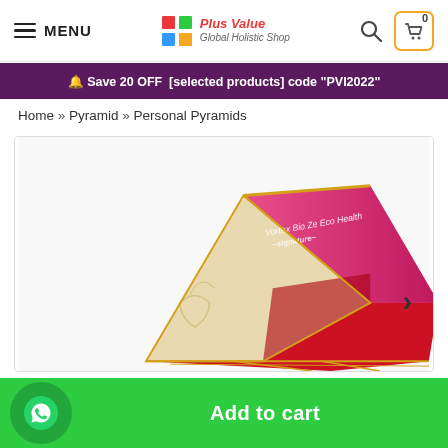MENU | Plus Value Global Holistic Shop | Search | Cart (0)
🔔 Save 20 OFF [selected products] code "PVI2022"
Home » Pyramid » Personal Pyramids
[Figure (photo): A decorative pyramid box product with pink/magenta exterior and red interior lining, shown open at an angle revealing the inside compartments with gold trim details.]
Add to cart